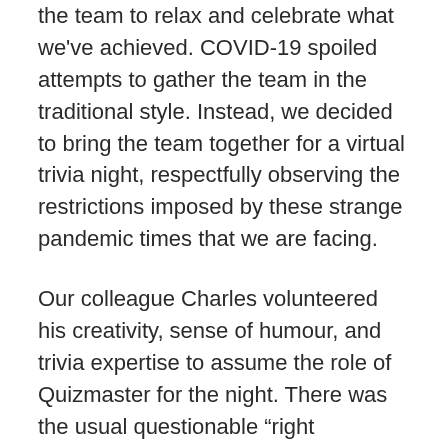the team to relax and celebrate what we've achieved. COVID-19 spoiled attempts to gather the team in the traditional style. Instead, we decided to bring the team together for a virtual trivia night, respectfully observing the restrictions imposed by these strange pandemic times that we are facing.
Our colleague Charles volunteered his creativity, sense of humour, and trivia expertise to assume the role of Quizmaster for the night. There was the usual questionable “right answers”, technological breakdowns, a bit of competition, and plenty of banter. It was fantastic to get the entire team, partners, kids, and fur-children all together to have fun and celebrate.
Providing our team with quality time outside of